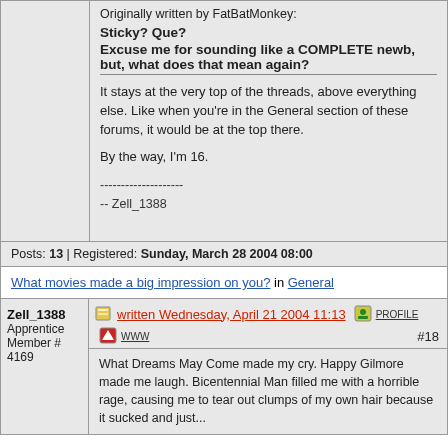Originally written by FatBatMonkey:
Sticky? Que?

Excuse me for sounding like a COMPLETE newb, but, what does that mean again?
It stays at the very top of the threads, above everything else. Like when you're in the General section of these forums, it would be at the top there.

By the way, I'm 16.

--------------------
-- Zell_1388
Posts: 13 | Registered: Sunday, March 28 2004 08:00
What movies made a big impression on you? in General
Zell_1388
Apprentice
Member # 4169
written Wednesday, April 21 2004 11:13  #18
What Dreams May Come made my cry. Happy Gilmore made me laugh. Bicentennial Man filled me with a horrible rage, causing me to tear out clumps of my own hair because it sucked and just...